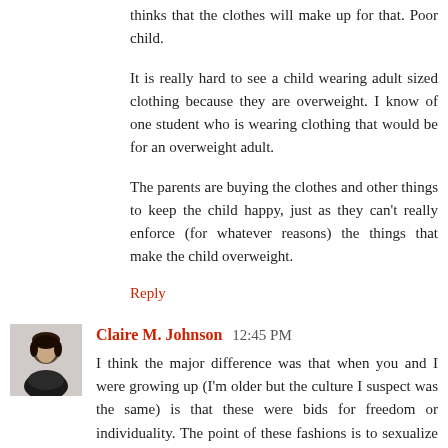thinks that the clothes will make up for that. Poor child.
It is really hard to see a child wearing adult sized clothing because they are overweight. I know of one student who is wearing clothing that would be for an overweight adult.
The parents are buying the clothes and other things to keep the child happy, just as they can't really enforce (for whatever reasons) the things that make the child overweight.
Reply
[Figure (photo): Avatar photo of Claire M. Johnson, a woman with dark hair]
Claire M. Johnson  12:45 PM
I think the major difference was that when you and I were growing up (I'm older but the culture I suspect was the same) is that these were bids for freedom or individuality. The point of these fashions is to sexualize children. Plain and simple. This issue tends to get me on my feminist high horse, but I think it's part and parcel of this overwhelming social tidal wave to reduce women to children, the only possible explanation for the anoxretic model thing. I base